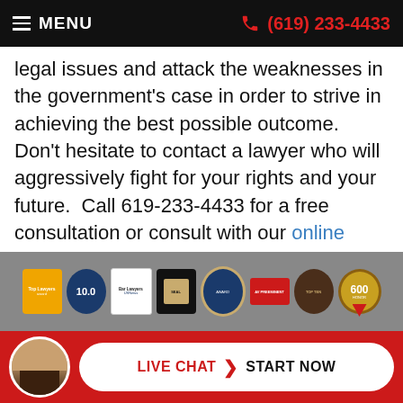≡ MENU   (619) 233-4433
legal issues and attack the weaknesses in the government's case in order to strive in achieving the best possible outcome.  Don't hesitate to contact a lawyer who will aggressively fight for your rights and your future.  Call 619-233-4433 for a free consultation or consult with our online agents today.
[Figure (infographic): Row of 8 legal award/recognition badges on gray background including Top Lawyers, 10.0 rating, Bar Lawyers US News, and other legal honor seals]
[Figure (infographic): Red footer bar with circular avatar photo of a woman, and a white pill-shaped button reading LIVE CHAT > START NOW]